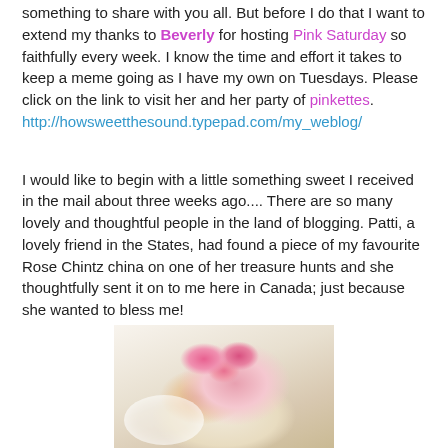something to share with you all. But before I do that I want to extend my thanks to Beverly for hosting Pink Saturday so faithfully every week. I know the time and effort it takes to keep a meme going as I have my own on Tuesdays. Please click on the link to visit her and her party of pinkettes. http://howsweetthesound.typepad.com/my_weblog/
I would like to begin with a little something sweet I received in the mail about three weeks ago.... There are so many lovely and thoughtful people in the land of blogging. Patti, a lovely friend in the States, had found a piece of my favourite Rose Chintz china on one of her treasure hunts and she thoughtfully sent it on to me here in Canada; just because she wanted to bless me!
[Figure (photo): A photograph of what appears to be a decorative item — a lace-covered piece with pink ribbons or roses on top, resembling a hat or pincushion with pink satin bows/flowers, displayed against a light grey background.]